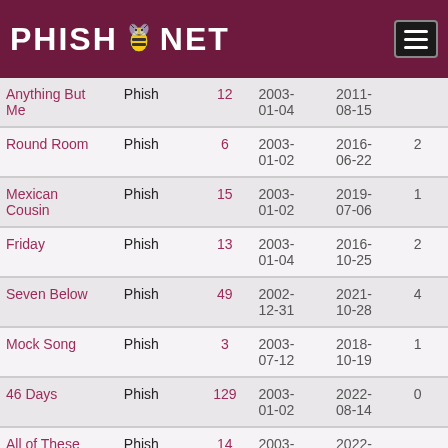PHISH.NET
| Song | Artist | Count | First | Last |  |
| --- | --- | --- | --- | --- | --- |
| Anything But Me | Phish | 12 | 2003-01-04 | 2011-08-15 |  |
| Round Room | Phish | 6 | 2003-01-02 | 2016-06-22 | 2 |
| Mexican Cousin | Phish | 15 | 2003-01-02 | 2019-07-06 | 1 |
| Friday | Phish | 13 | 2003-01-04 | 2016-10-25 | 2 |
| Seven Below | Phish | 49 | 2002-12-31 | 2021-10-28 | 4 |
| Mock Song | Phish | 3 | 2003-07-12 | 2018-10-19 | 1 |
| 46 Days | Phish | 129 | 2003-01-02 | 2022-08-14 | 0 |
| All of These | Phish | 14 | 2003- | 2022- |  |